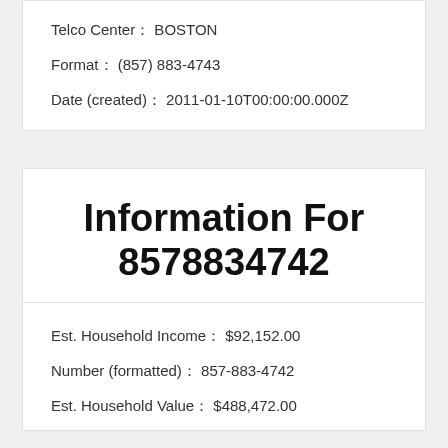Telco Center:  BOSTON
Format:  (857) 883-4743
Date (created):  2011-01-10T00:00:00.000Z
Information For 8578834742
Est. Household Income:  $92,152.00
Number (formatted):  857-883-4742
Est. Household Value:  $488,472.00